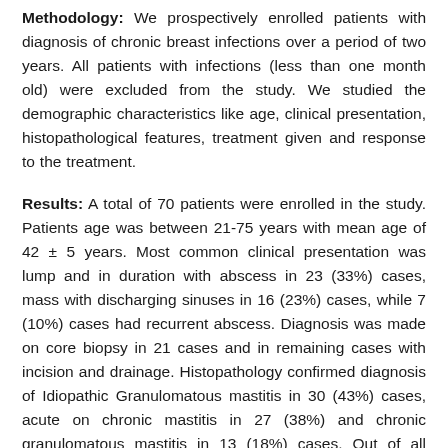Methodology: We prospectively enrolled patients with diagnosis of chronic breast infections over a period of two years. All patients with infections (less than one month old) were excluded from the study. We studied the demographic characteristics like age, clinical presentation, histopathological features, treatment given and response to the treatment.
Results: A total of 70 patients were enrolled in the study. Patients age was between 21-75 years with mean age of 42 ± 5 years. Most common clinical presentation was lump and in duration with abscess in 23 (33%) cases, mass with discharging sinuses in 16 (23%) cases, while 7 (10%) cases had recurrent abscess. Diagnosis was made on core biopsy in 21 cases and in remaining cases with incision and drainage. Histopathology confirmed diagnosis of Idiopathic Granulomatous mastitis in 30 (43%) cases, acute on chronic mastitis in 27 (38%) and chronic granulomatous mastitis in 13 (18%) cases. Out of all cases 29 (41%) showed response to antibacterial treatment while 27 (38%) cases responded to